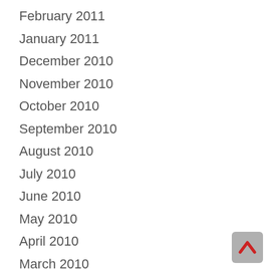February 2011
January 2011
December 2010
November 2010
October 2010
September 2010
August 2010
July 2010
June 2010
May 2010
April 2010
March 2010
February 2010
January 2010
[Figure (other): Back to top button with red caret/chevron icon on grey background]